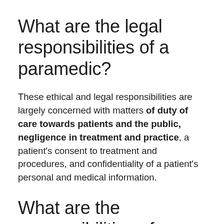What are the legal responsibilities of a paramedic?
These ethical and legal responsibilities are largely concerned with matters of duty of care towards patients and the public, negligence in treatment and practice, a patient's consent to treatment and procedures, and confidentiality of a patient's personal and medical information.
What are the responsibilities of paramedics in reference to his/her client?